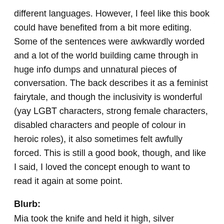different languages. However, I feel like this book could have benefited from a bit more editing. Some of the sentences were awkwardly worded and a lot of the world building came through in huge info dumps and unnatural pieces of conversation. The back describes it as a feminist fairytale, and though the inclusivity is wonderful (yay LGBT characters, strong female characters, disabled characters and people of colour in heroic roles), it also sometimes felt awfully forced. This is still a good book, though, and like I said, I loved the concept enough to want to read it again at some point.
Blurb:
Mia took the knife and held it high, silver moonlight glinting off the blade. She stared at herself in the reflection. A demon in oyster silk stared back. And yet, in spite of everything – even as she stood amidst the charred cinders of her life – she felt freer than she had in ages. Powerful.